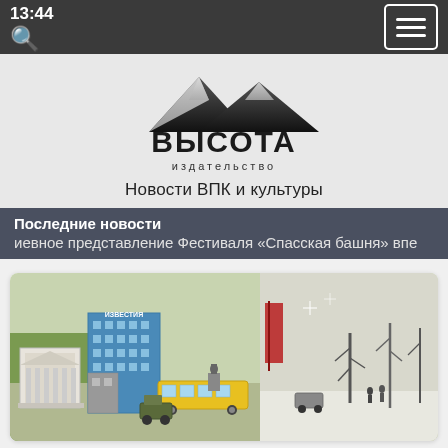13:44
[Figure (logo): Vysota publishing house logo with mountain silhouette and bold Cyrillic text ВЫСОТА (VYSOTA) and subtitle издательство]
Новости ВПК и культуры
Последние новости
иевное представление Фестиваля «Спасская башня» впе
[Figure (photo): Aerial or elevated view of miniature city models showing buildings, a yellow tram, vehicles, trees, and a statue in an outdoor exhibition or park setting]